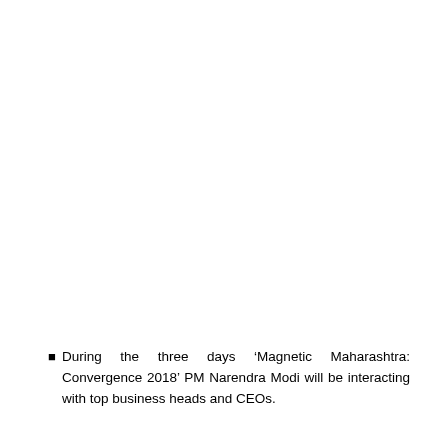During the three days 'Magnetic Maharashtra: Convergence 2018' PM Narendra Modi will be interacting with top business heads and CEOs.